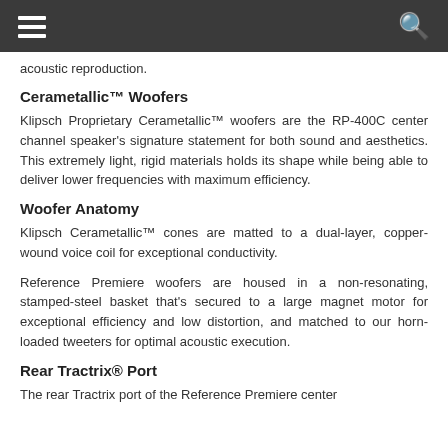[navigation bar with hamburger menu and search icon]
acoustic reproduction.
Cerametallic™ Woofers
Klipsch Proprietary Cerametallic™ woofers are the RP-400C center channel speaker's signature statement for both sound and aesthetics. This extremely light, rigid materials holds its shape while being able to deliver lower frequencies with maximum efficiency.
Woofer Anatomy
Klipsch Cerametallic™ cones are matted to a dual-layer, copper-wound voice coil for exceptional conductivity.
Reference Premiere woofers are housed in a non-resonating, stamped-steel basket that's secured to a large magnet motor for exceptional efficiency and low distortion, and matched to our horn-loaded tweeters for optimal acoustic execution.
Rear Tractrix® Port
The rear Tractrix port of the Reference Premiere center